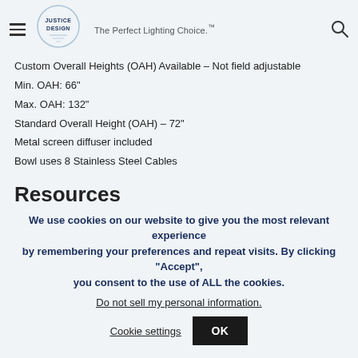Justice Design — The Perfect Lighting Choice.™
Custom Overall Heights (OAH) Available – Not field adjustable
Min. OAH: 66"
Max. OAH: 132"
Standard Overall Height (OAH) – 72"
Metal screen diffuser included
Bowl uses 8 Stainless Steel Cables
Resources
We use cookies on our website to give you the most relevant experience by remembering your preferences and repeat visits. By clicking "Accept", you consent to the use of ALL the cookies.
Do not sell my personal information.
Cookie settings  OK